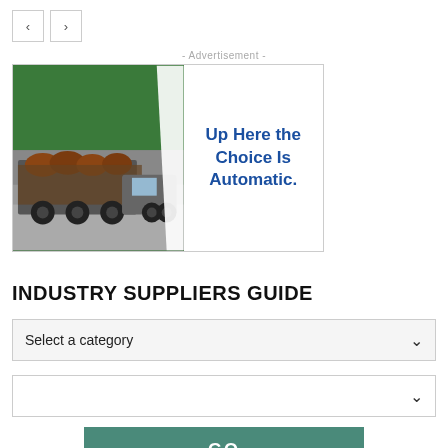[Figure (screenshot): Navigation back and forward buttons (< and >) inside square bordered boxes]
- Advertisement -
[Figure (photo): Advertisement banner showing a logging truck loaded with timber logs on the left, and text 'Up Here the Choice Is Automatic.' in blue on white background on the right]
INDUSTRY SUPPLIERS GUIDE
[Figure (screenshot): Dropdown selector with label 'Select a category' and a chevron on the right]
[Figure (screenshot): Second empty dropdown selector with a chevron on the right]
[Figure (screenshot): GO button in teal/green color]